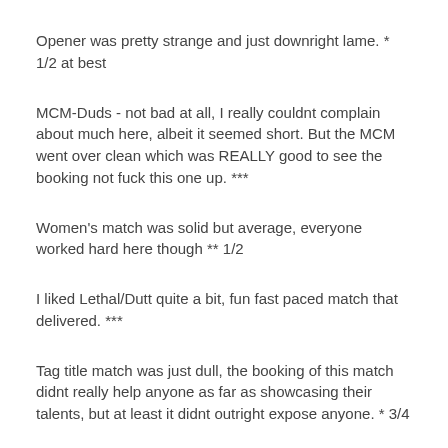Opener was pretty strange and just downright lame. * 1/2 at best
MCM-Duds - not bad at all, I really couldnt complain about much here, albeit it seemed short. But the MCM went over clean which was REALLY good to see the booking not fuck this one up. ***
Women's match was solid but average, everyone worked hard here though ** 1/2
I liked Lethal/Dutt quite a bit, fun fast paced match that delivered. ***
Tag title match was just dull, the booking of this match didnt really help anyone as far as showcasing their talents, but at least it didnt outright expose anyone. * 3/4